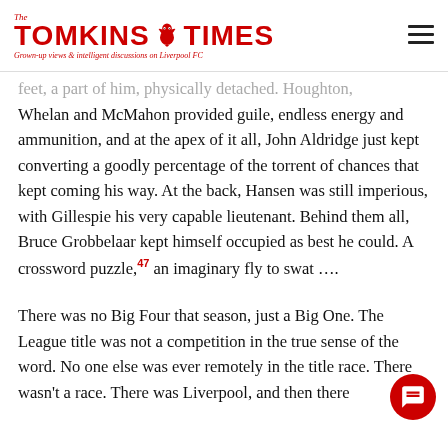The Tomkins Times — Grown-up views & intelligent discussions on Liverpool FC
feet, a part of him, physically detached. Houghton, Whelan and McMahon provided guile, endless energy and ammunition, and at the apex of it all, John Aldridge just kept converting a goodly percentage of the torrent of chances that kept coming his way. At the back, Hansen was still imperious, with Gillespie his very capable lieutenant. Behind them all, Bruce Grobbelaar kept himself occupied as best he could. A crossword puzzle,47 an imaginary fly to swat ….
There was no Big Four that season, just a Big One. The League title was not a competition in the true sense of the word. No one else was ever remotely in the title race. There wasn't a race. There was Liverpool, and then there